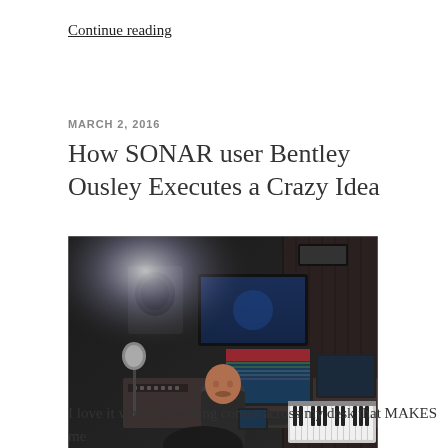Continue reading
MARCH 2, 2016
How SONAR user Bentley Ousley Executes a Crazy Idea
[Figure (photo): Man sitting at a large recording studio mixing console with keyboards, monitors, and equipment surrounding him in a professional studio environment.]
I love it when something comes across my desk that MAKES me